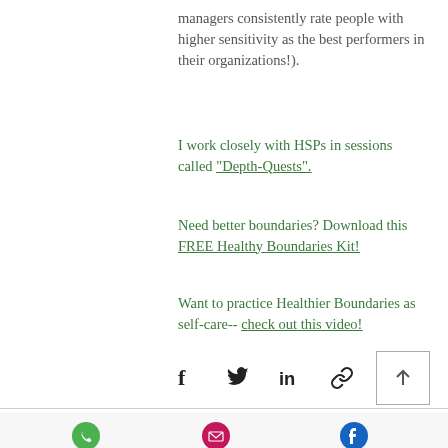managers consistently rate people with higher sensitivity as the best performers in their organizations!).
I work closely with HSPs in sessions called "Depth-Quests".
Need better boundaries? Download this FREE Healthy Boundaries Kit!
Want to practice Healthier Boundaries as self-care-- check out this video!
[Figure (other): Social sharing icons: Facebook, Twitter, LinkedIn, link/chain icon, and a scroll-to-top button with upward arrow]
Phone   Email   Facebook